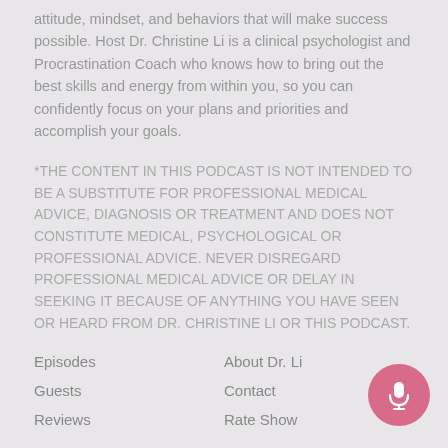attitude, mindset, and behaviors that will make success possible. Host Dr. Christine Li is a clinical psychologist and Procrastination Coach who knows how to bring out the best skills and energy from within you, so you can confidently focus on your plans and priorities and accomplish your goals.
*THE CONTENT IN THIS PODCAST IS NOT INTENDED TO BE A SUBSTITUTE FOR PROFESSIONAL MEDICAL ADVICE, DIAGNOSIS OR TREATMENT AND DOES NOT CONSTITUTE MEDICAL, PSYCHOLOGICAL OR PROFESSIONAL ADVICE. NEVER DISREGARD PROFESSIONAL MEDICAL ADVICE OR DELAY IN SEEKING IT BECAUSE OF ANYTHING YOU HAVE SEEN OR HEARD FROM DR. CHRISTINE LI OR THIS PODCAST.
Episodes
Guests
Reviews
About Dr. Li
Contact
Rate Show
[Figure (illustration): Pink circular microphone button icon in the bottom right corner]